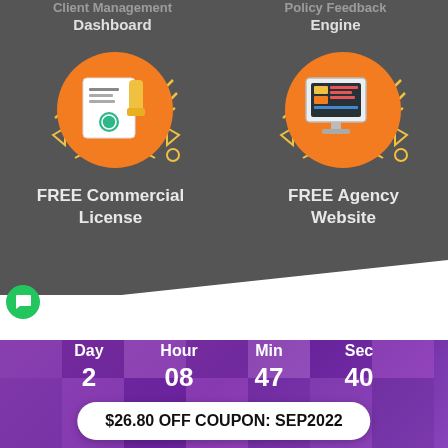Client Management Dashboard
[Figure (illustration): Orange circle icon with certificate/document and seal graphic, decorative yellow zigzag lines around it]
FREE Commercial License
[Figure (illustration): Orange circle icon with computer monitor showing dashboard/code graphic, decorative yellow zigzag lines around it]
FREE Agency Website
HURRY! Limited Time Coupon:
Day 2  Hour 08  Min 47  Sec 40
$26.80 OFF COUPON: SEP2022